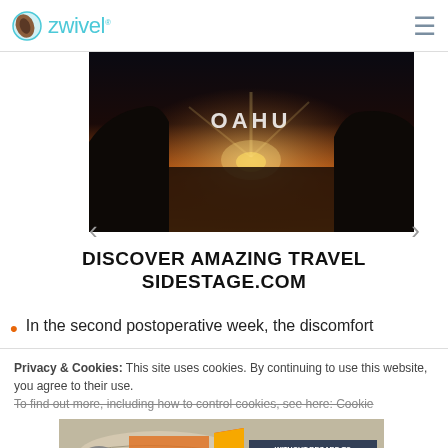zwivel
[Figure (photo): Travel banner showing Oahu sunset scene with rocky coastline silhouette and glowing text 'OAHU' in the center]
DISCOVER AMAZING TRAVEL SIDESTAGE.COM
In the second postoperative week, the discomfort
Privacy & Cookies: This site uses cookies. By continuing to use this website, you agree to their use.
To find out more, including how to control cookies, see here: Cookie
[Figure (photo): Advertisement showing cargo being loaded onto a Southwest Airlines aircraft with text 'WITHOUT REGARD TO POLITICS, RELIGION OR ABILITY TO PAY']